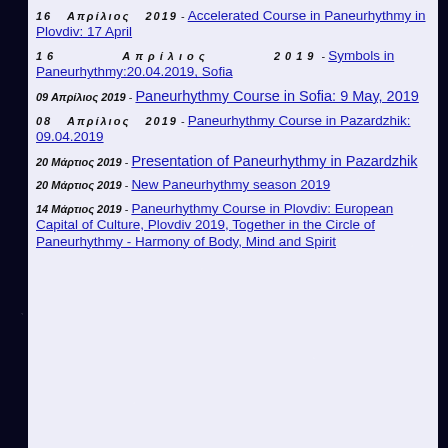16 Απρίλιος 2019 - Accelerated Course in Paneurhythmy in Plovdiv: 17 April
16 Απρίλιος 2019 - Symbols in Paneurhythmy:20.04.2019, Sofia
09 Απρίλιος 2019 - Paneurhythmy Course in Sofia: 9 May, 2019
08 Απρίλιος 2019 - Paneurhythmy Course in Pazardzhik: 09.04.2019
20 Μάρτιος 2019 - Presentation of Paneurhythmy in Pazardzhik
20 Μάρτιος 2019 - New Paneurhythmy season 2019
14 Μάρτιος 2019 - Paneurhythmy Course in Plovdiv: European Capital of Culture, Plovdiv 2019, Together in the Circle of Paneurhythmy - Harmony of Body, Mind and Spirit